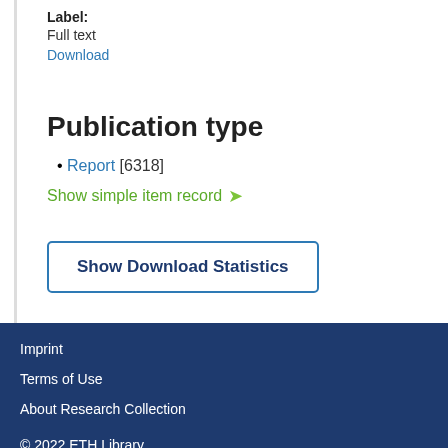Label: Full text
Download
Publication type
Report [6318]
Show simple item record →
Show Download Statistics
Imprint
Terms of Use
About Research Collection
© 2022 ETH Library